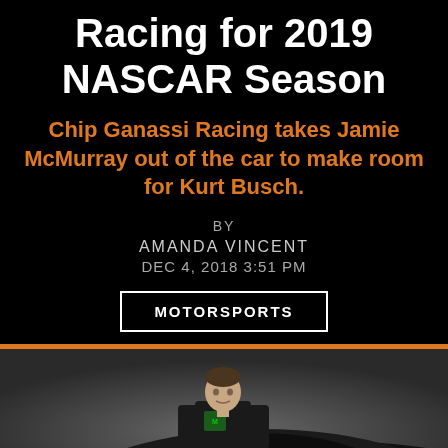Racing for 2019 NASCAR Season
Chip Ganassi Racing takes Jamie McMurray out of the car to make room for Kurt Busch.
BY
AMANDA VINCENT
DEC 4, 2018 3:51 PM
MOTORSPORTS
[Figure (photo): A NASCAR driver in a black Monster Energy racing suit standing next to a dark race car, photographed against a grey background.]